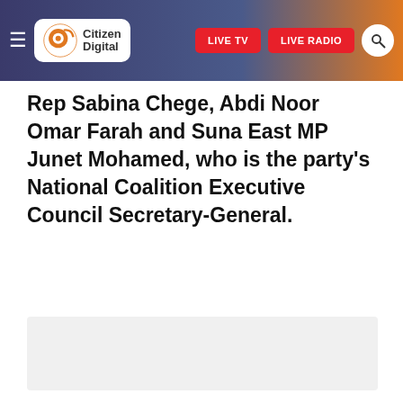[Figure (screenshot): Citizen Digital website header with hamburger menu, Citizen Digital logo, LIVE TV button, LIVE RADIO button, and search icon on a dark blue-to-orange gradient background]
Rep Sabina Chege, Abdi Noor Omar Farah and Suna East MP Junet Mohamed, who is the party's National Coalition Executive Council Secretary-General.
[Figure (other): Grey advertisement placeholder box]
TAGS:
Citizen Digital
President Uhuru Kenyatta
Raila Odinga
Azimio
Citizen TV Kenya